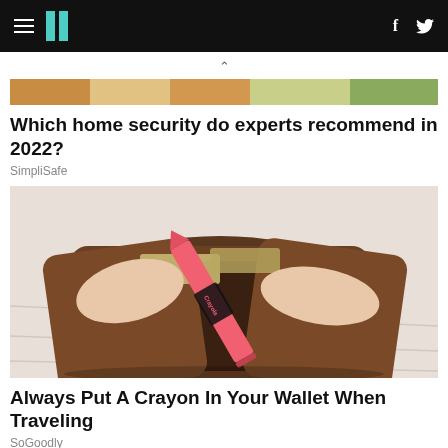HuffPost navigation bar with hamburger menu, logo, and social icons (f, Twitter)
[Figure (photo): Partial top of a food article image showing colorful food items]
Which home security do experts recommend in 2022?
SimpliSafe
[Figure (photo): A hand opening a brown leather wallet with a pink/red Crayola crayon inside]
Always Put A Crayon In Your Wallet When Traveling
SoGoodly